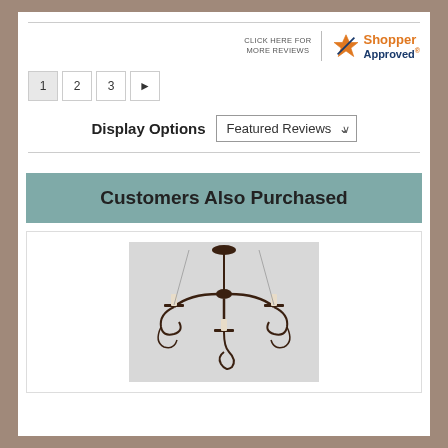[Figure (logo): Shopper Approved badge with star icon, text 'CLICK HERE FOR MORE REVIEWS' and 'Shopper Approved' orange and blue logo]
1
2
3
►
Display Options  Featured Reviews ∨
Customers Also Purchased
[Figure (photo): A wrought iron chandelier with 3 candle holders and ornate scrollwork, photographed against a light background]